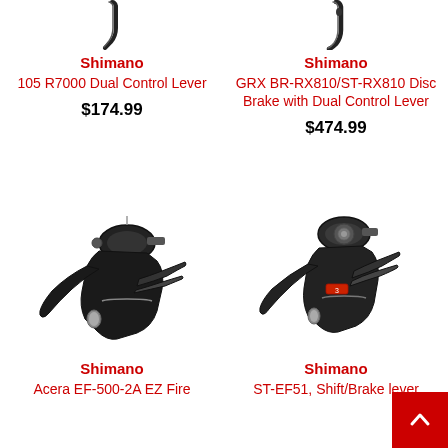[Figure (photo): Shimano 105 R7000 Dual Control Lever - partial top view of lever/hook]
Shimano
105 R7000 Dual Control Lever
$174.99
[Figure (photo): Shimano GRX BR-RX810/ST-RX810 Disc Brake with Dual Control Lever - partial top view]
Shimano
GRX BR-RX810/ST-RX810 Disc Brake with Dual Control Lever
$474.99
[Figure (photo): Shimano Acera EF-500-2A EZ Fire brake/shift lever - black, angled view]
Shimano
Acera EF-500-2A EZ Fire
[Figure (photo): Shimano ST-EF51 Shift/Brake lever - black, angled view]
Shimano
ST-EF51, Shift/Brake lever